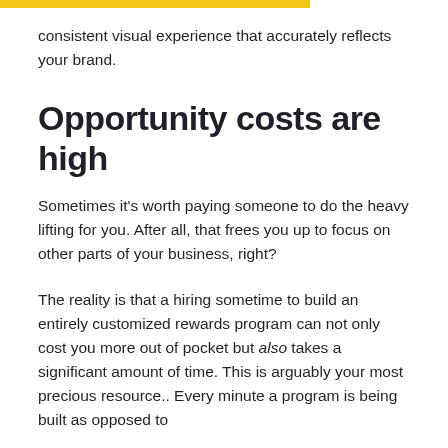consistent visual experience that accurately reflects your brand.
Opportunity costs are high
Sometimes it’s worth paying someone to do the heavy lifting for you. After all, that frees you up to focus on other parts of your business, right?
The reality is that a hiring sometime to build an entirely customized rewards program can not only cost you more out of pocket but also takes a significant amount of time. This is arguably your most precious resource.. Every minute a program is being built as opposed to